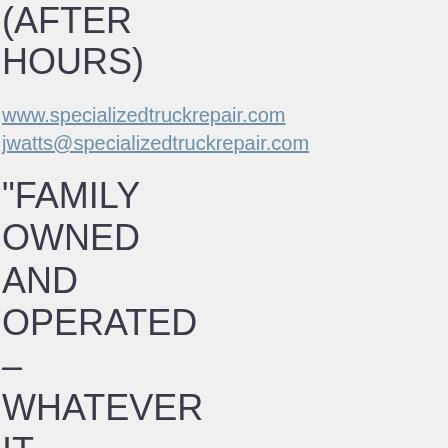(AFTER HOURS)
www.specializedtruckrepair.com
jwatts@specializedtruckrepair.com
“FAMILY OWNED AND OPERATED – WHATEVER IT TAKES!” With 3 separate